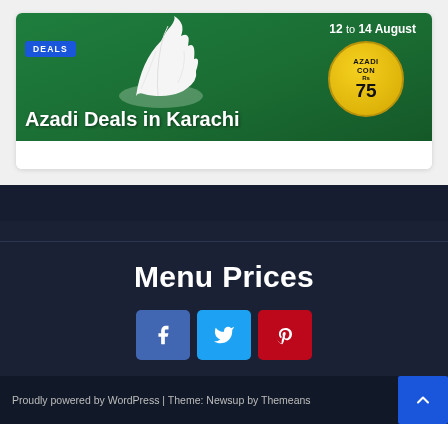[Figure (photo): Promotional banner for Azadi Deals in Karachi, 12 to 14 August, on green background with ice cream/whipped cream and gold coin showing Rs 75]
Azadi Deals in Karachi
Menu Prices
[Figure (infographic): Social media sharing buttons: Facebook (blue), Twitter (cyan), Pinterest (red)]
Proudly powered by WordPress | Theme: Newsup by Themeans